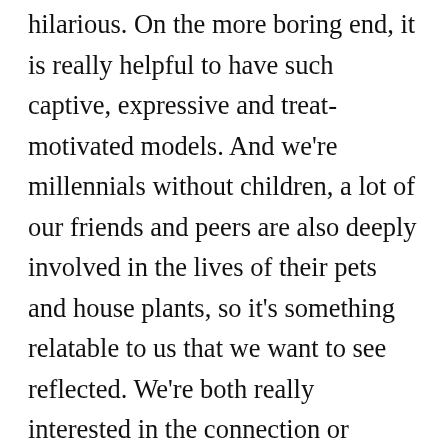hilarious. On the more boring end, it is really helpful to have such captive, expressive and treat-motivated models. And we're millennials without children, a lot of our friends and peers are also deeply involved in the lives of their pets and house plants, so it's something relatable to us that we want to see reflected. We're both really interested in the connection or distance between human and non-human animals. How animals become symbols or canvasses to project our ideas (and songs) onto and how we live side by side with these creatures who we often relate to but who do not share in big portions of our realities (they don't know about capitalism)! Our zine, Indy is